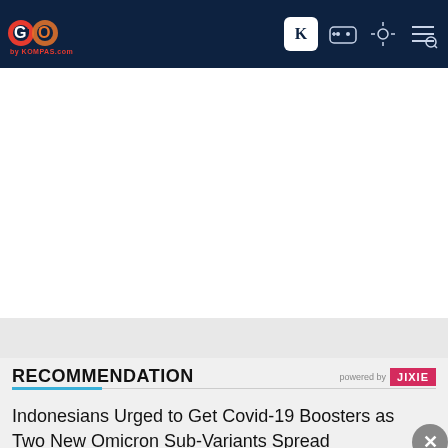GO by KOMPAS.com navigation bar
[Figure (other): White advertisement placeholder area]
RECOMMENDATION
[Figure (logo): Powered by JIXIE logo]
Indonesians Urged to Get Covid-19 Boosters as Two New Omicron Sub-Variants Spread